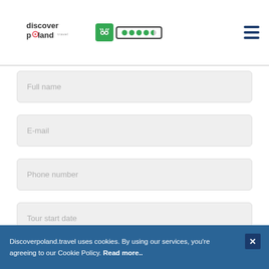[Figure (logo): Discover Poland Travel logo with TripAdvisor rating badge (4.5 green circles) and hamburger menu icon]
Full name
E-mail
Phone number
Tour start date
Discoverpoland.travel uses cookies. By using our services, you're agreeing to our Cookie Policy. Read more..